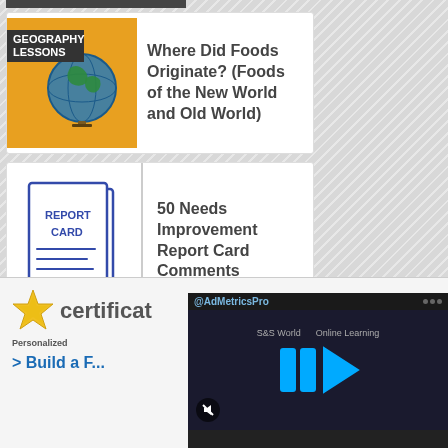[Figure (screenshot): Dark top navigation bar remnant]
[Figure (illustration): Geography Lessons thumbnail with globe on orange background]
Where Did Foods Originate? (Foods of the New World and Old World)
[Figure (illustration): Report Card illustration with hand-drawn style book]
50 Needs Improvement Report Card Comments
[Figure (logo): Certificate star logo with text 'certificat...' and 'Personalized']
> Build a F...
[Figure (screenshot): AdMetricsPro video overlay with blue play icons on dark background, showing S&S World Online Learning text]